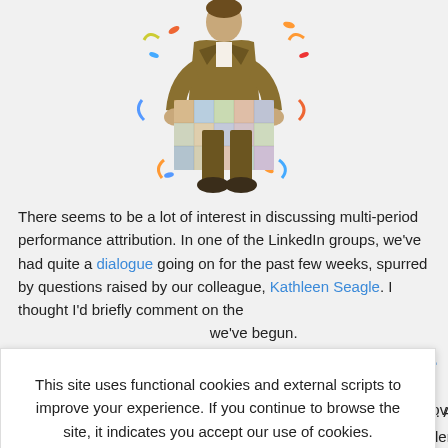[Figure (illustration): Cartoon illustration of a man in a brown suit holding a large patchwork quilt/suitcase with colorful confetti around him]
There seems to be a lot of interest in discussing multi-period performance attribution. In one of the LinkedIn groups, we've had quite a dialogue going on for the past few weeks, spurred by questions raised by our colleague, Kathleen Seagle. I thought I'd briefly comment on the ...we've begun.
This site uses functional cookies and external scripts to improve your experience. If you continue to browse the site, it indicates you accept our use of cookies.
...ince ...at provide me. Arithmetic ...hallenged." That is, residuals will result, and must be smoothed out."